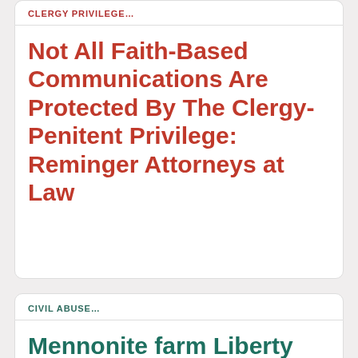CLERGY PRIVILEGE...
Not All Faith-Based Communications Are Protected By The Clergy-Penitent Privilege: Reminger Attorneys at Law
CIVIL ABUSE...
Mennonite farm Liberty Ridge human trafficked and abused